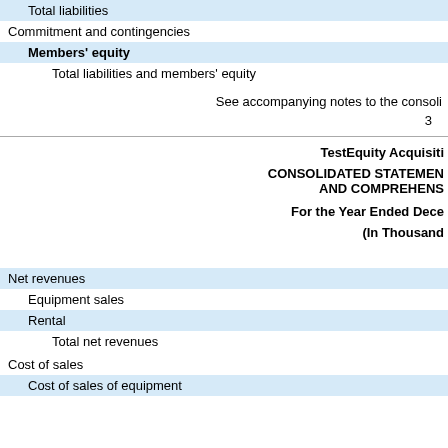| Total liabilities |
| Commitment and contingencies |
| Members' equity |
| Total liabilities and members' equity |
See accompanying notes to the consolidated financial statements.
3
TestEquity Acquisitions, LLC
CONSOLIDATED STATEMENTS OF OPERATIONS AND COMPREHENSIVE LOSS
For the Year Ended December 31, 2020
(In Thousands)
| Net revenues |
| Equipment sales |
| Rental |
| Total net revenues |
| Cost of sales |
| Cost of sales of equipment |